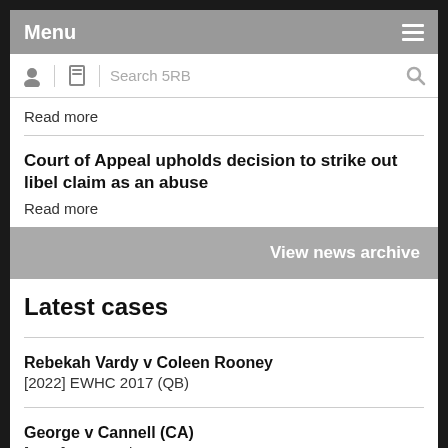Menu
Read more
Court of Appeal upholds decision to strike out libel claim as an abuse
Read more
View news archive
Latest cases
Rebekah Vardy v Coleen Rooney
[2022] EWHC 2017 (QB)
George v Cannell (CA)
[2022] EWCA Civ 1067
Soriano v Le Point & Anor
[2022] EWHC 1763 (QB)